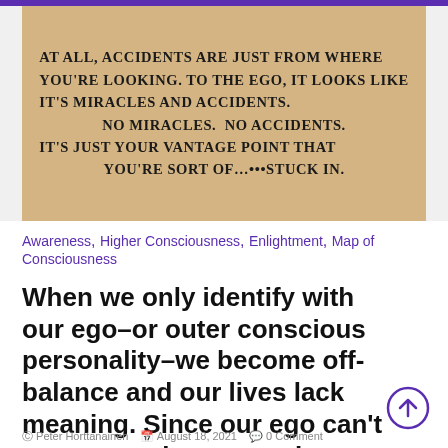[Figure (photo): Scanned newspaper clipping on tan/beige background with bold uppercase text reading: 'AT ALL, ACCIDENTS ARE JUST FROM WHERE YOU'RE LOOKING. TO THE EGO, IT LOOKS LIKE IT'S MIRACLES AND ACCIDENTS. NO MIRACLES. NO ACCIDENTS. IT'S JUST YOUR VANTAGE POINT THAT YOU'RE SORT OF....STUCK IN.']
Awareness, Higher Consciousness, Enlightment, Map of Consciousness
When we only identify with our ego–or outer conscious personality–we become off-balance and our lives lack meaning. Since our ego can't come anywhere near the resourcefulness of our Real Self, it's inevitable that we will feel frightened and insecure.
Peter Horttanainen   August 18, 2021   0 Comment